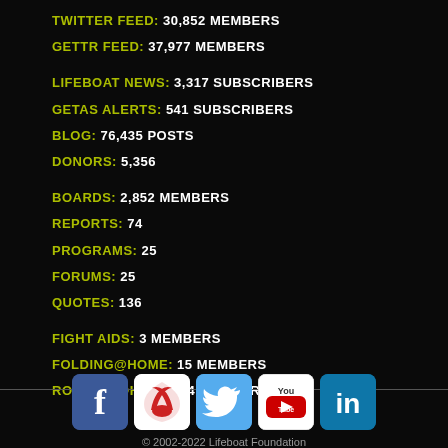TWITTER FEED: 30,852 MEMBERS
GETTR FEED: 37,977 MEMBERS
LIFEBOAT NEWS: 3,317 SUBSCRIBERS
GETAS ALERTS: 541 SUBSCRIBERS
BLOG: 76,435 POSTS
DONORS: 5,356
BOARDS: 2,852 MEMBERS
REPORTS: 74
PROGRAMS: 25
FORUMS: 25
QUOTES: 136
FIGHT AIDS: 3 MEMBERS
FOLDING@HOME: 15 MEMBERS
ROSETTA@HOME: 44 MEMBERS
[Figure (logo): Social media icons: Facebook, GETTR, Twitter, YouTube, LinkedIn]
© 2002-2022 Lifeboat Foundation